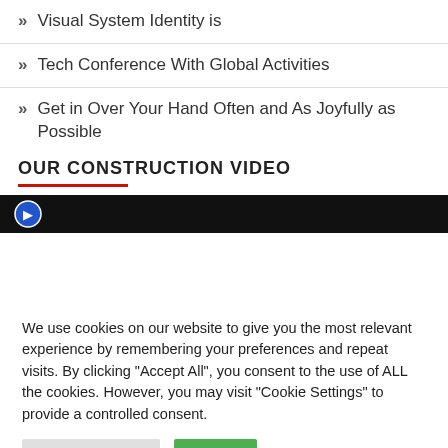» Visual System Identity is
» Tech Conference With Global Activities
» Get in Over Your Hand Often and As Joyfully as Possible
OUR CONSTRUCTION VIDEO
[Figure (screenshot): Video thumbnail with black background and partial logo icon visible]
We use cookies on our website to give you the most relevant experience by remembering your preferences and repeat visits. By clicking "Accept All", you consent to the use of ALL the cookies. However, you may visit "Cookie Settings" to provide a controlled consent.